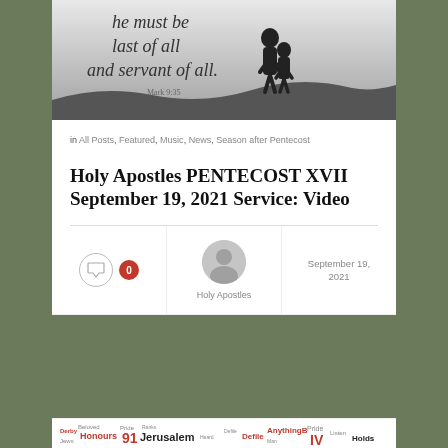[Figure (photo): Black and white image with silhouette of adult and child holding hands, with text overlay: 'he must be last of all and servant of all. Mark 9:35']
in All Posts, Featured, Music, News, Season after Pentecost
Holy Apostles PENTECOST XVII September 19, 2021 Service: Video
0 comments | Holy Apostles | September 19, 2021
[Figure (other): Word cloud preview at bottom of page with words including Honours, Jerusalem, Defile, Anything, Pride, Listen in red and black]